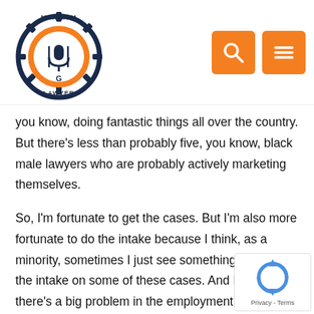[Figure (logo): Maximum Lawyer logo with gear/microphone emblem and orange/navy color scheme]
you know, doing fantastic things all over the country. But there's less than probably five, you know, black male lawyers who are probably actively marketing themselves.
So, I'm fortunate to get the cases. But I'm also more fortunate to do the intake because I think, as a minority, sometimes I just see something different in the intake on some of these cases. And I think there's a big problem in the employment sphere, in the civil rights sphere, with African-American plaintiffs trying to get representation. It happens all the time. I see a lot of pro se plaintiffs in this arena.
So, I think just one more person to take a look, give it a seco find a referral, you know, beat down the door for someone and say